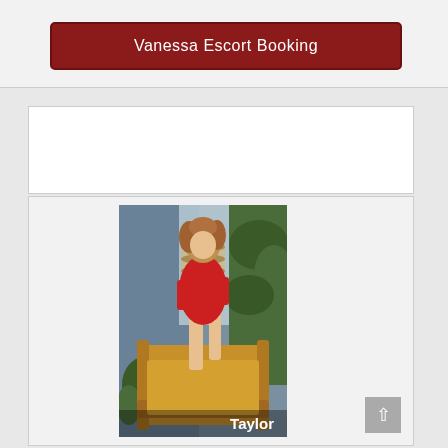Vanessa Escort Booking
Taylor
[Figure (photo): A young woman with curly auburn hair wearing a red short dress, posing on a yellow armchair in a studio setting with blue walls and plants in the background. White text overlay reads 'Taylor' at the bottom right.]